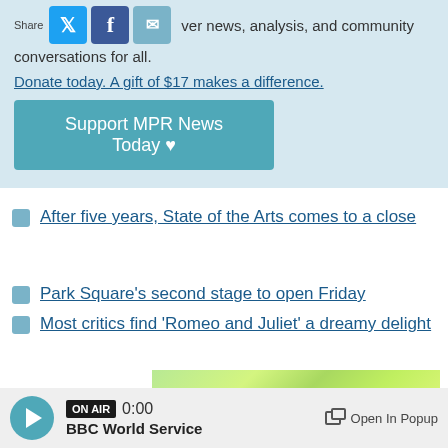ver news, analysis, and community conversations for all.
Donate today. A gift of $17 makes a difference.
Support MPR News Today ♥
After five years, State of the Arts comes to a close
Park Square's second stage to open Friday
Most critics find 'Romeo and Juliet' a dreamy delight
[Figure (illustration): Advertisement banner with green gradient background and text: Visit Bemidji at the]
ON AIR 0:00 BBC World Service | Open In Popup